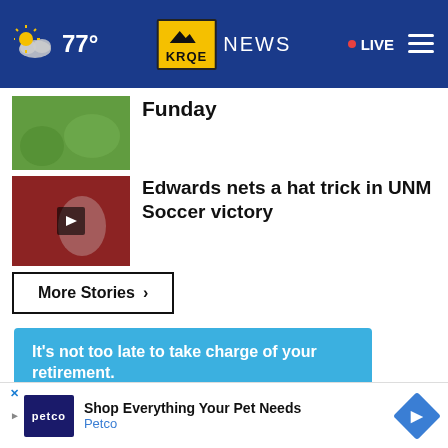77° KRQE NEWS • LIVE
Funday
Edwards nets a hat trick in UNM Soccer victory
More Stories ›
[Figure (infographic): Advertisement: It's not too late to take charge of your retirement. Go to AceYourRetirement.org →]
[Figure (infographic): Petco advertisement: Shop Everything Your Pet Needs - Petco]